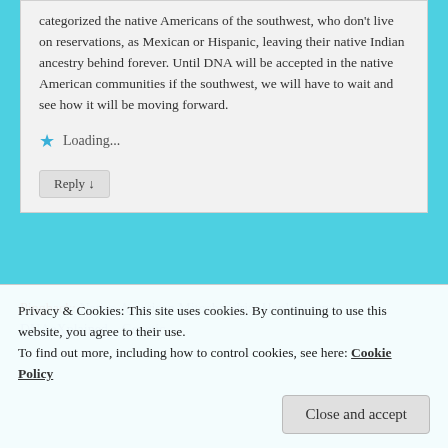categorized the native Americans of the southwest, who don't live on reservations, as Mexican or Hispanic, leaving their native Indian ancestry behind forever. Until DNA will be accepted in the native American communities if the southwest, we will have to wait and see how it will be moving forward.
★ Loading...
Reply ↓
Pingback: Native American Mitochondrial Haplogroups | DNAeXplained – Genetic
Privacy & Cookies: This site uses cookies. By continuing to use this website, you agree to their use.
To find out more, including how to control cookies, see here: Cookie Policy
Close and accept
Richard Valdez on April 25, 2015 at 8:20 am said: